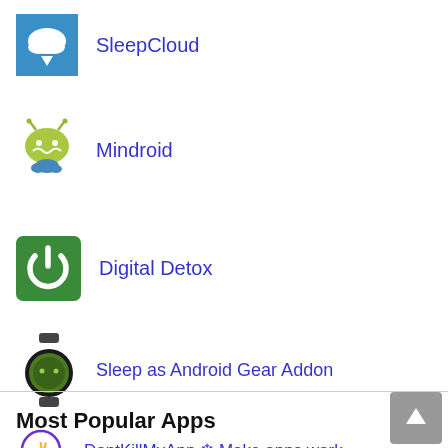SleepCloud
Mindroid
Digital Detox
Sleep as Android Gear Addon
DontKillMyApp ❄ Make apps work
Most Popular Apps